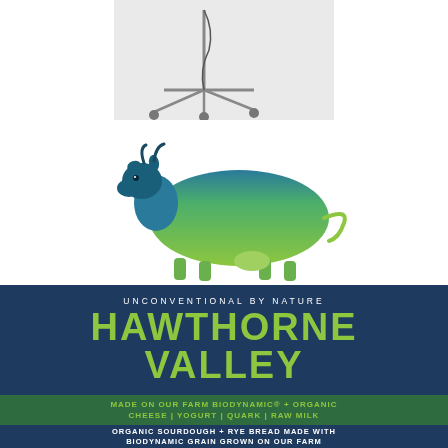[Figure (photo): Photo of a wheeled metal stand/cart with casters at bottom, on white background, partially cropped at top]
[Figure (illustration): Watercolor-style illustration of a cow silhouette with blue head transitioning to bright green body, representing Hawthorne Valley farm brand]
UNCONVENTIONAL BY NATURE
HAWTHORNE VALLEY
MADE ON OUR FARM BIODYNAMIC® + ORGANIC CHEESE | YOGURT | QUARK | RAW MILK
ORGANIC SOURDOUGH + RYE BREAD MADE WITH BIODYNAMIC GRAIN GROWN ON OUR FARM